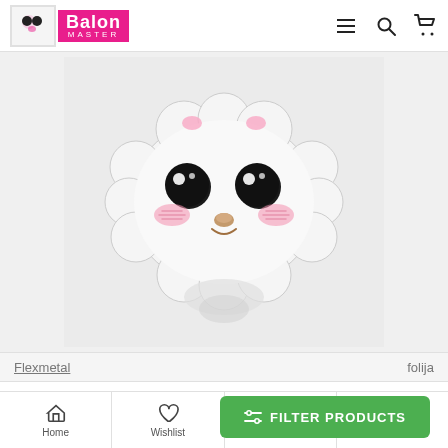Balon Master — navigation header
[Figure (illustration): Cute kawaii sheep face balloon — white fluffy cloud-shaped head with big black eyes, pink cheeks, small brown nose, on gray background]
Flexmetal    folija
Shape sheep head
850.00 RSD
[Figure (other): Green FILTER PRODUCTS button with sliders icon]
Home    Wishlist    My account    Call us